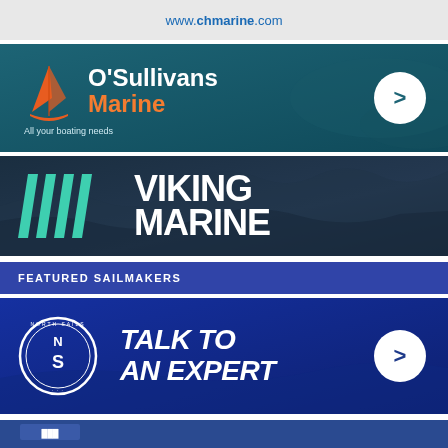[Figure (logo): CH Marine banner with www.chmarine.com text and logo]
[Figure (logo): O'Sullivans Marine banner with sail logo, text 'O'Sullivans Marine - All your boating needs' and arrow button]
[Figure (logo): Viking Marine banner with teal angular VM logo marks and white bold text 'VIKING MARINE' on dark ocean background]
FEATURED SAILMAKERS
[Figure (logo): North Sails banner with circular NS logo and italic text 'TALK TO AN EXPERT' and arrow button]
[Figure (logo): Partial bottom banner with blue background and partial logo visible]